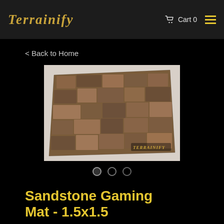TERRAINIFY   Cart 0
< Back to Home
[Figure (photo): A sandstone gaming mat laid flat, showing a textured cobblestone/flagstone pattern in earthy brown and grey tones. The Terrainify logo is visible in the bottom-right corner of the mat. White background visible at corners.]
● ○ ○
Sandstone Gaming Mat - 1.5x1.5